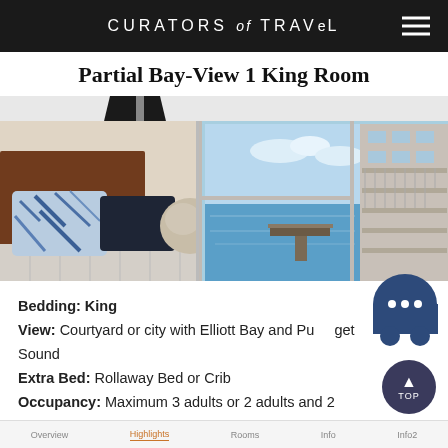CURATORS of TRAVEL
Partial Bay-View 1 King Room
[Figure (photo): Hotel room interior showing a bed with decorative pillows — a blue-and-white patterned pillow, a dark navy pillow, and a round beige/cream pillow — against a leather headboard. Floor-to-ceiling windows reveal a view of Elliott Bay waterfront with a pier, blue water, and a modern building with balconies to the right.]
Bedding: King
View: Courtyard or city with Elliott Bay and Puget Sound
Extra Bed: Rollaway Bed or Crib
Occupancy: Maximum 3 adults or 2 adults and 2 children